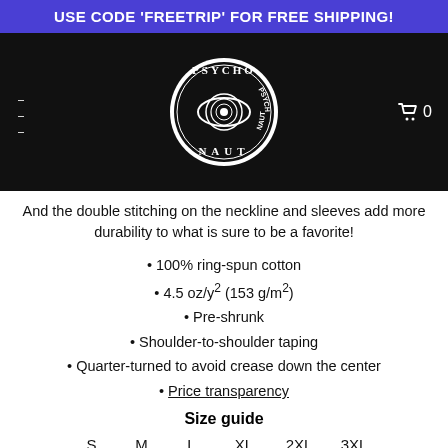USE CODE 'FREETRIP' FOR FREE SHIPPING!
[Figure (logo): Psychonaut circular logo with psychedelic eye design on black background with hamburger menu and cart icon showing 0 items]
And the double stitching on the neckline and sleeves add more durability to what is sure to be a favorite!
100% ring-spun cotton
4.5 oz/y² (153 g/m²)
Pre-shrunk
Shoulder-to-shoulder taping
Quarter-turned to avoid crease down the center
Price transparency
Size guide
S    M    L    XL    2XL    3XL